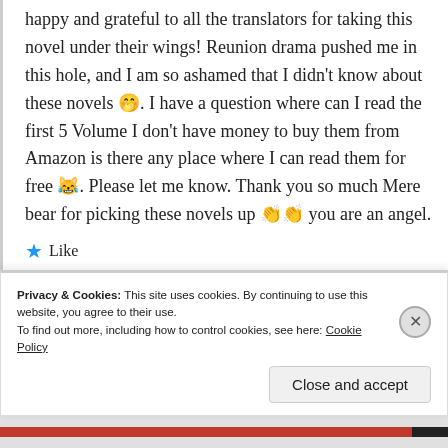happy and grateful to all the translators for taking this novel under their wings! Reunion drama pushed me in this hole, and I am so ashamed that I didn't know about these novels 🤭. I have a question where can I read the first 5 Volume I don't have money to buy them from Amazon is there any place where I can read them for free 😹. Please let me know. Thank you so much Mere bear for picking these novels up 👏👏 you are an angel.
★ Like
Privacy & Cookies: This site uses cookies. By continuing to use this website, you agree to their use. To find out more, including how to control cookies, see here: Cookie Policy
Close and accept